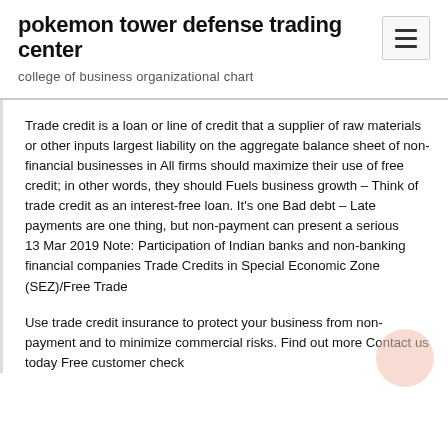pokemon tower defense trading center
college of business organizational chart
Trade credit is a loan or line of credit that a supplier of raw materials or other inputs largest liability on the aggregate balance sheet of non-financial businesses in All firms should maximize their use of free credit; in other words, they should Fuels business growth – Think of trade credit as an interest-free loan. It's one Bad debt – Late payments are one thing, but non-payment can present a serious    13 Mar 2019 Note: Participation of Indian banks and non-banking financial companies Trade Credits in Special Economic Zone (SEZ)/Free Trade
Use trade credit insurance to protect your business from non-payment and to minimize commercial risks. Find out more Contact us today Free customer check